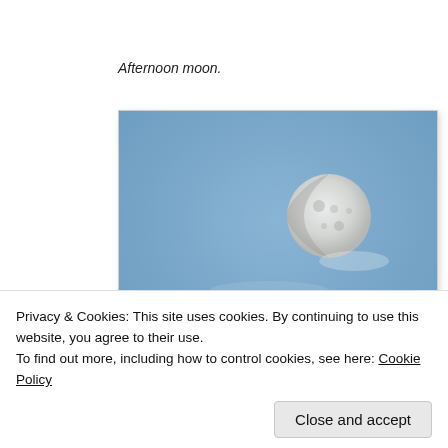Afternoon moon.
[Figure (photo): Photograph of a half-moon visible in a blue daytime sky with faint wispy clouds.]
Privacy & Cookies: This site uses cookies. By continuing to use this website, you agree to their use.
To find out more, including how to control cookies, see here: Cookie Policy
Close and accept
I had decided what we should have for an evening